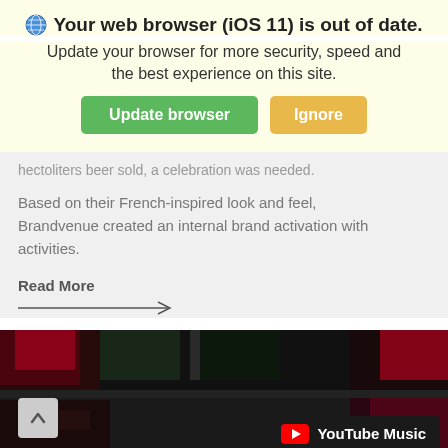Your web browser (iOS 11) is out of date.
Update your browser for more security, speed and the best experience on this site.
hectoliters beer sold, a celebration was needed.
Based on their French-inspired look and feel, Brandvenue created an internal brand activation with activities.
Read More
[Figure (screenshot): Dark photo background with red lighting, showing a YouTube Music overlay in the bottom right and a back-to-top arrow button on the left]